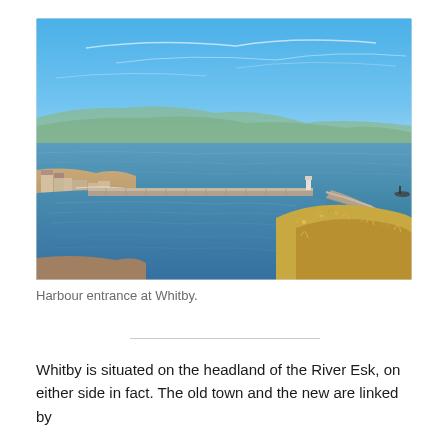[Figure (photo): Aerial/elevated view of Whitby harbour entrance showing two stone piers extending into the sea, with calm blue water in the harbour, a sandy beach to the left, town buildings, and coastline stretching into the distance under a blue sky with light clouds.]
Harbour entrance at Whitby.
Whitby is situated on the headland of the River Esk, on either side in fact. The old town and the new are linked by